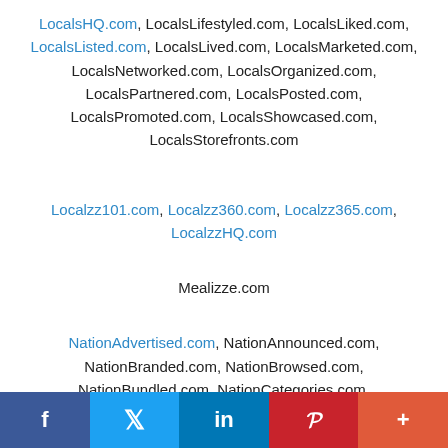LocalsHQ.com, LocalsLifestyled.com, LocalsLiked.com, LocalsListed.com, LocalsLived.com, LocalsMarketed.com, LocalsNetworked.com, LocalsOrganized.com, LocalsPartnered.com, LocalsPosted.com, LocalsPromoted.com, LocalsShowcased.com, LocalsStorefronts.com
Localzz101.com, Localzz360.com, Localzz365.com, LocalzzHQ.com
Mealizze.com
NationAdvertised.com, NationAnnounced.com, NationBranded.com, NationBrowsed.com, NationBundled.com, NationCategories.com, NationCentralized.com, NationDigitalized.com, NationDiscovered.com, NationDisplayed.com
f  Twitter  in  P  +